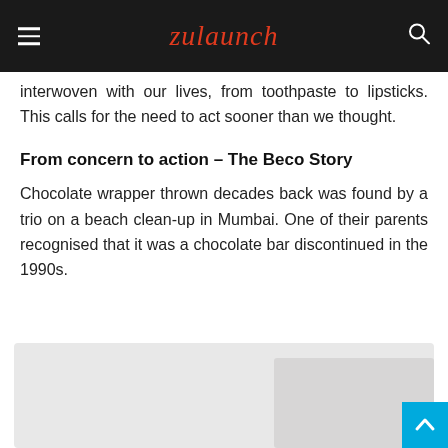Zulaunch
interwoven with our lives, from toothpaste to lipsticks. This calls for the need to act sooner than we thought.
From concern to action – The Beco Story
Chocolate wrapper thrown decades back was found by a trio on a beach clean-up in Mumbai. One of their parents recognised that it was a chocolate bar discontinued in the 1990s.
[Figure (photo): A partially visible image at the bottom of the article, appears to be a beach or outdoor scene]